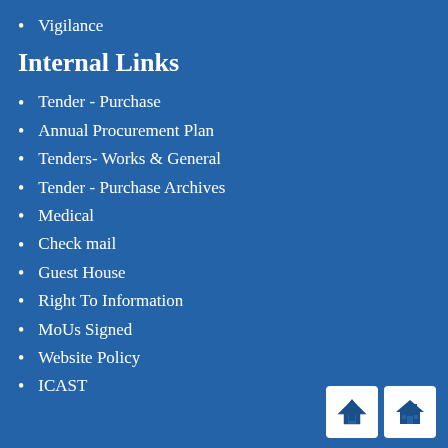Vigilance
Internal Links
Tender - Purchase
Annual Procurement Plan
Tenders- Works & General
Tender - Purchase Archives
Medical
Check mail
Guest House
Right To Information
MoUs Signed
Website Policy
ICAST